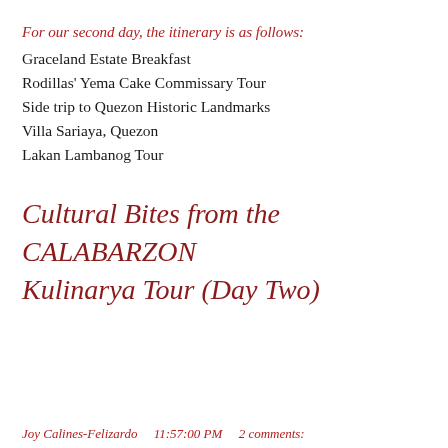For our second day, the itinerary is as follows:
Graceland Estate Breakfast
Rodillas' Yema Cake Commissary Tour
Side trip to Quezon Historic Landmarks
Villa Sariaya, Quezon
Lakan Lambanog Tour
Cultural Bites from the CALABARZON Kulinarya Tour (Day Two)
Joy Calines-Felizardo    11:57:00 PM    2 comments: